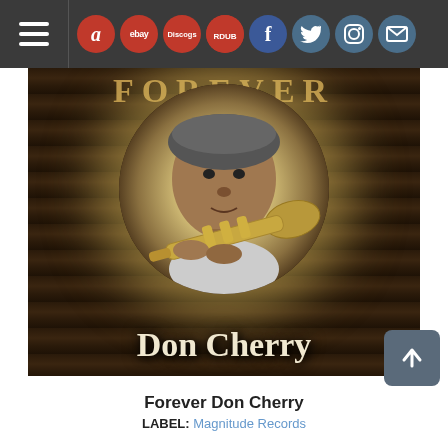Navigation bar with hamburger menu and icons: Amazon, eBay, Discogs, RD, Facebook, Twitter, Instagram, Mail
[Figure (photo): Album cover for 'Forever Don Cherry' showing a black and white portrait of Don Cherry holding a trumpet, set in a glowing circular frame against a dark wooden plank background, with the text 'Don Cherry' in white serif font at the bottom]
Forever Don Cherry
LABEL: Magnitude Records